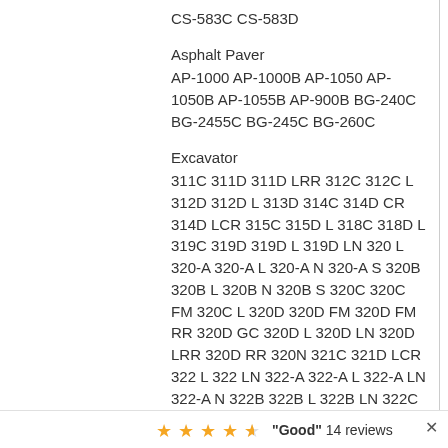CS-583C CS-583D
Asphalt Paver
AP-1000 AP-1000B AP-1050 AP-1050B AP-1055B AP-900B BG-240C BG-2455C BG-245C BG-260C
Excavator
311C 311D 311D LRR 312C 312C L 312D 312D L 313D 314C 314D CR 314D LCR 315C 315D L 318C 318D L 319C 319D 319D L 319D LN 320 L 320-A 320-A L 320-A N 320-A S 320B 320B L 320B N 320B S 320C 320C FM 320C L 320D 320D FM 320D FM RR 320D GC 320D L 320D LN 320D LRR 320D RR 320N 321C 321D LCR 322 L 322 LN 322-A 322-A L 322-A LN 322-A N 322B 322B L 322B LN 322C 322C FM 322N 323D 323D L 323D LN 323D S 323D SA 325 L 325-A 325-A FM 325-A L 325D 325D L
"Good" 14 reviews